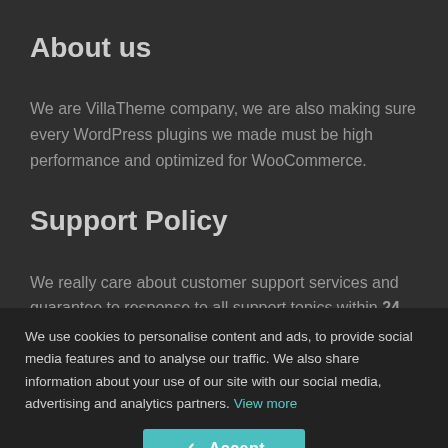About us
We are VillaTheme company, we are also making sure every WordPress plugins we made must be high performance and optimized for WooCommerce.
Support Policy
We really care about customer support services and guarantee to response to all support topics within 24 hours on weekday (a bit longer over weekend).
Due to different timezone, you may get very fast response when we are available, our timezone is: GMT+7
VillaTheme Policy
We use cookies to personalise content and ads, to provide social media features and to analyse our traffic. We also share information about your use of our site with our social media, advertising and analytics partners. View more